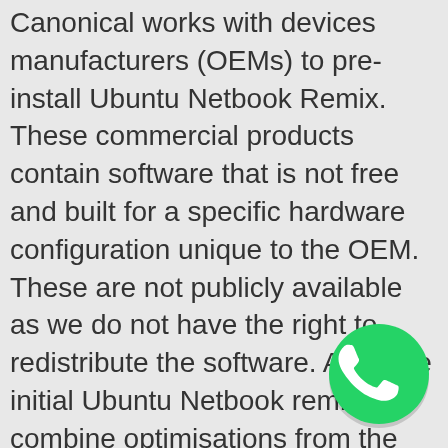Canonical works with devices manufacturers (OEMs) to pre-install Ubuntu Netbook Remix. These commercial products contain software that is not free and built for a specific hardware configuration unique to the OEM. These are not publicly available as we do not have the right to redistribute the software. All of the initial Ubuntu Netbook remixes combine optimisations from the Moblin project for Intel® Atom™ processors and it is specially designed for netbooks. Intel and Canonical are working to create a new computing experience across a rapidly expanding category of portable devices. Reasons to choose Ubuntu Netbook Remix For OEMs: * Rapid route to market - UI configured to work with Intel Atom processor-based netbooks so you are ready to go * Small OS footprint fits within a 4GB flash drive with room for additional storage * Expert engineering - based on Ubuntu's well-tested, globally proven software *
[Figure (logo): WhatsApp logo — green circle with white telephone handset icon]